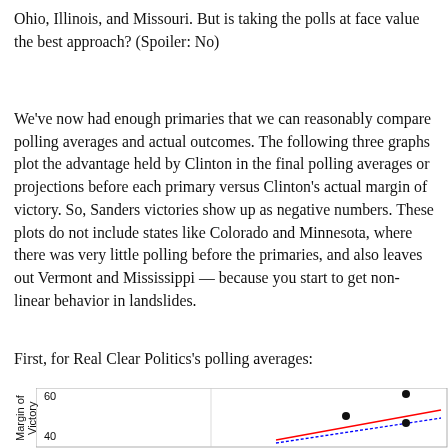Ohio, Illinois, and Missouri. But is taking the polls at face value the best approach? (Spoiler: No)
We've now had enough primaries that we can reasonably compare polling averages and actual outcomes. The following three graphs plot the advantage held by Clinton in the final polling averages or projections before each primary versus Clinton's actual margin of victory. So, Sanders victories show up as negative numbers. These plots do not include states like Colorado and Minnesota, where there was very little polling before the primaries, and also leaves out Vermont and Mississippi — because you start to get non-linear behavior in landslides.
First, for Real Clear Politics's polling averages:
[Figure (scatter-plot): Partial scatter plot showing Clinton's polling advantage vs actual margin of victory, with a red trend line and blue line. Points visible near top right area of chart at approximately (30,58), (25,43), (30,40). Chart is cropped at bottom.]